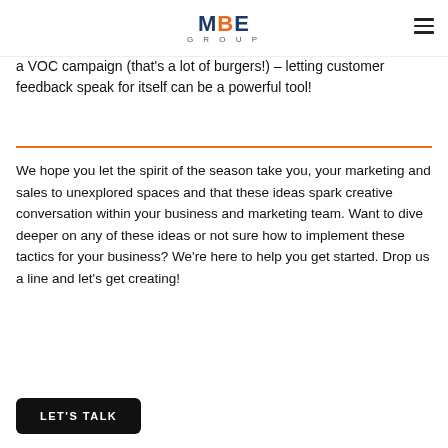MBE GROUP
a VOC campaign (that's a lot of burgers!) – letting customer feedback speak for itself can be a powerful tool!
We hope you let the spirit of the season take you, your marketing and sales to unexplored spaces and that these ideas spark creative conversation within your business and marketing team. Want to dive deeper on any of these ideas or not sure how to implement these tactics for your business? We're here to help you get started. Drop us a line and let's get creating!
LET'S TALK